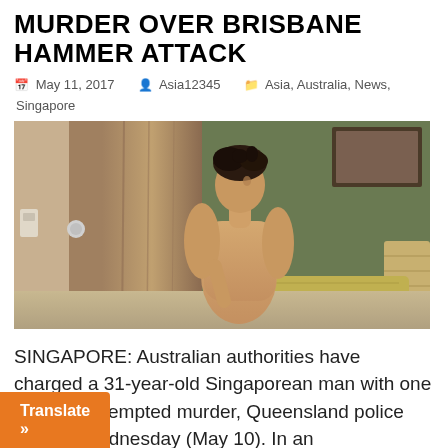MURDER OVER BRISBANE HAMMER ATTACK
May 11, 2017   Asia12345   Asia, Australia, News, Singapore
[Figure (photo): Photo of a shirtless young Asian man sitting on a bed in a hotel or motel room, looking toward the camera over his shoulder. Room has curtains, a doorknob visible, and a patterned pillow in the background.]
SINGAPORE: Australian authorities have charged a 31-year-old Singaporean man with one count of attempted murder, Queensland police said on Wednesday (May 10). In an announcement on their website, police said the alleged murder attempt on